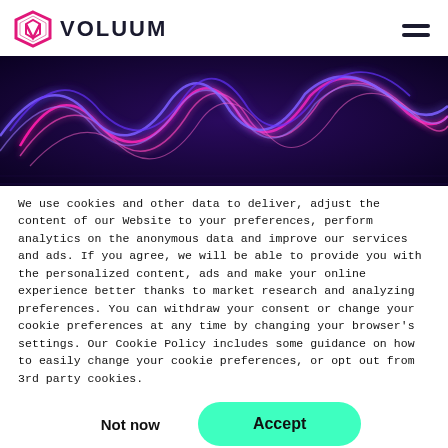VOLUUM
[Figure (illustration): Neon glowing abstract 2022 digits with pink and blue light trails on dark purple background]
We use cookies and other data to deliver, adjust the content of our Website to your preferences, perform analytics on the anonymous data and improve our services and ads. If you agree, we will be able to provide you with the personalized content, ads and make your online experience better thanks to market research and analyzing preferences. You can withdraw your consent or change your cookie preferences at any time by changing your browser's settings. Our Cookie Policy includes some guidance on how to easily change your cookie preferences, or opt out from 3rd party cookies.
Not now
Accept